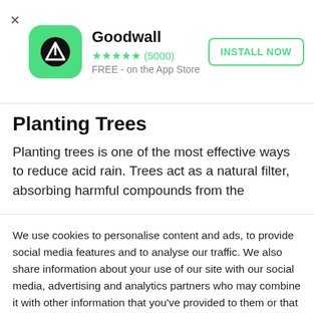[Figure (screenshot): Goodwall app advertisement banner with green app icon, star rating, and Install Now button]
Planting Trees
Planting trees is one of the most effective ways to reduce acid rain. Trees act as a natural filter, absorbing harmful compounds from the
We use cookies to personalise content and ads, to provide social media features and to analyse our traffic. We also share information about your use of our site with our social media, advertising and analytics partners who may combine it with other information that you've provided to them or that they've collected from your use of their services.